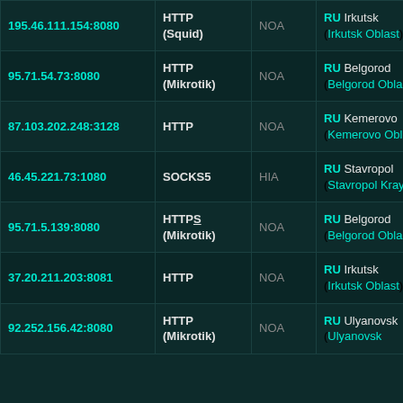| IP:Port | Protocol | Anonymity | Location | Host |
| --- | --- | --- | --- | --- |
| 195.46.111.154:8080 | HTTP (Squid) | NOA | RU Irkutsk (Irkutsk Oblast) | 195.46. |
| 95.71.54.73:8080 | HTTP (Mikrotik) | NOA | RU Belgorod (Belgorod Oblast) | 95.71.5 |
| 87.103.202.248:3128 | HTTP | NOA | RU Kemerovo (Kemerovo Oblast) | 87-103- |
| 46.45.221.73:1080 | SOCKS5 | HIA | RU Stavropol (Stavropol Kray) | 46.45.2 |
| 95.71.5.139:8080 | HTTPS (Mikrotik) | NOA | RU Belgorod (Belgorod Oblast) | 95.71.5 |
| 37.20.211.203:8081 | HTTP | NOA | RU Irkutsk (Irkutsk Oblast) | 37.20.2 |
| 92.252.156.42:8080 | HTTP (Mikrotik) | NOA | RU Ulyanovsk (Ulyanovsk) | 5cfc9c2 |